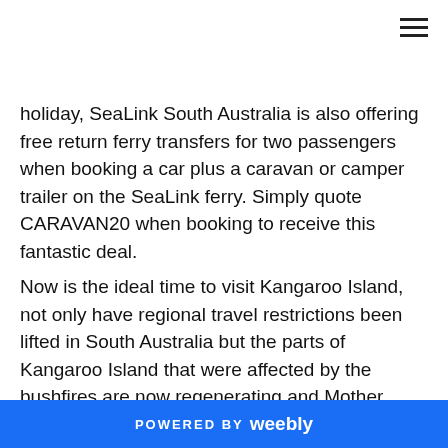holiday, SeaLink South Australia is also offering free return ferry transfers for two passengers when booking a car plus a caravan or camper trailer on the SeaLink ferry. Simply quote CARAVAN20 when booking to receive this fantastic deal.
Now is the ideal time to visit Kangaroo Island, not only have regional travel restrictions been lifted in South Australia but the parts of Kangaroo Island that were affected by the bushfires are now regenerating and Mother Nature is really putting on a show!
A sanctuary for wildlife, there are wildlife encounters at every corner. See Sea Lions frolicking on the beach at [continues]
POWERED BY weebly